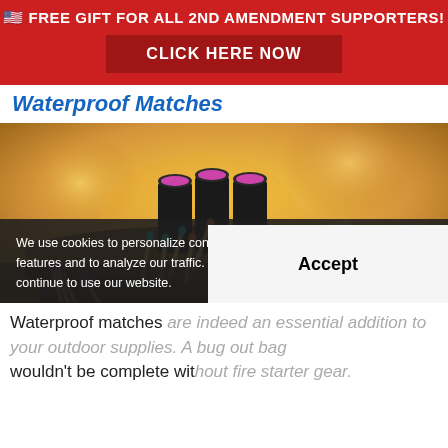🇺🇸 FREE GIFT FOR ALL 2ND AMENDMENT SUPPORTERS! CLICK HERE NOW
Waterproof Matches
[Figure (photo): Photo of colorful waterproof matches with pink, teal, purple, and green heads arranged on a wooden stump, with three black cylindrical match containers with purple/pink tops standing upright in the background. Warm golden bokeh background.]
We use cookies to personalize content and ads, to provide social media features and to analyze our traffic. You consent to our cookies if you continue to use our website.
Accept
Waterproof matches are indeed an essential addition to your outdoor supplies. A bug out bag wouldn't be complete without fire starter gear.